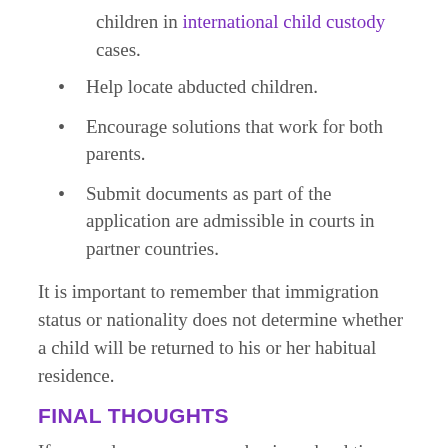children in international child custody cases.
Help locate abducted children.
Encourage solutions that work for both parents.
Submit documents as part of the application are admissible in courts in partner countries.
It is important to remember that immigration status or nationality does not determine whether a child will be returned to his or her habitual residence.
FINAL THOUGHTS
If you and your spouse are having a hard time with child custody, supervised visitation may be the best option for you. Ensuring a child's safety